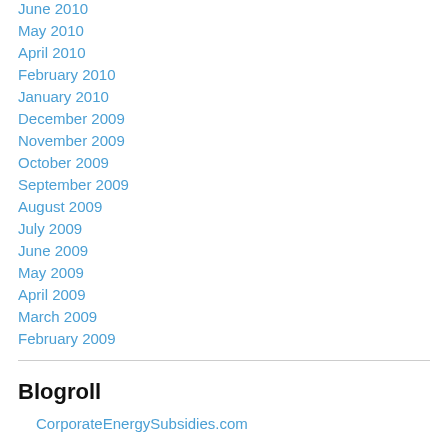June 2010
May 2010
April 2010
February 2010
January 2010
December 2009
November 2009
October 2009
September 2009
August 2009
July 2009
June 2009
May 2009
April 2009
March 2009
February 2009
Blogroll
CorporateEnergySubsidies.com